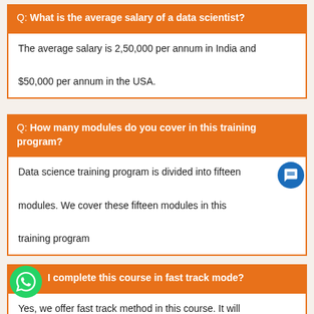Q: What is the average salary of a data scientist?
The average salary is 2,50,000 per annum in India and $50,000 per annum in the USA.
Q: How many modules do you cover in this training program?
Data science training program is divided into fifteen modules. We cover these fifteen modules in this training program
Q: Can I complete this course in fast track mode?
Yes, we offer fast track method in this course. It will